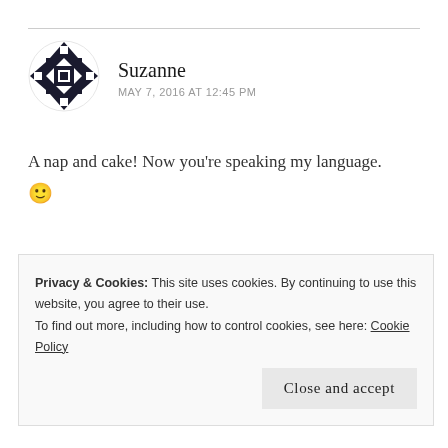[Figure (illustration): Geometric quilt-pattern avatar icon in black and white, circular shape with triangles and squares pattern]
Suzanne
MAY 7, 2016 AT 12:45 PM
A nap and cake! Now you're speaking my language. 🙂
http://mykindofsweet.com
★ Like
Privacy & Cookies: This site uses cookies. By continuing to use this website, you agree to their use.
To find out more, including how to control cookies, see here: Cookie Policy
Close and accept